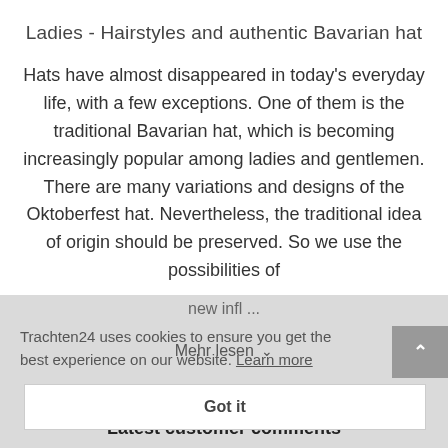Ladies - Hairstyles and authentic Bavarian hat
Hats have almost disappeared in today's everyday life, with a few exceptions. One of them is the traditional Bavarian hat, which is becoming increasingly popular among ladies and gentlemen. There are many variations and designs of the Oktoberfest hat. Nevertheless, the traditional idea of origin should be preserved. So we use the possibilities of
new infl ...
Trachten24 uses cookies to ensure you get the best experience on our website. Learn more
Mehr lesen ∨
Got it
Latest customer comments